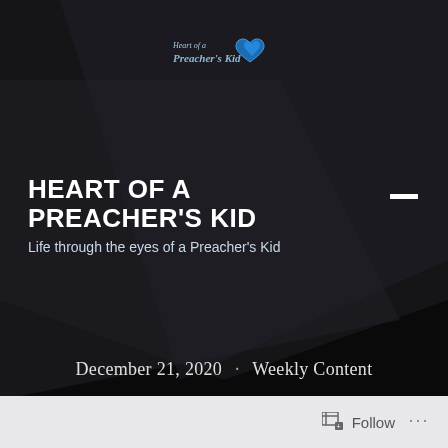[Figure (logo): Heart of a Preacher's Kid blog logo with blue heart icon and stylized text]
HEART OF A PREACHER'S KID
Life through the eyes of a Preacher's Kid
December 21, 2020 · Weekly Content
Follow